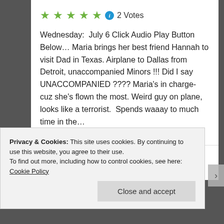[Figure (other): Five green star rating icons followed by a blue info icon]
2 Votes
Wednesday:  July 6 Click Audio Play Button Below… Maria brings her best friend Hannah to visit Dad in Texas. Airplane to Dallas from Detroit, unaccompanied Minors !!! Did I say UNACCOMPANIED ???? Maria's in charge- cuz she's flown the most. Weird guy on plane, looks like a terrorist.  Spends waaay to much time in the…
July 23, 2011 in FatherHood, FreeLance.
[Figure (photo): Partial photo showing blue sky and raised arms/hands]
Privacy & Cookies: This site uses cookies. By continuing to use this website, you agree to their use.
To find out more, including how to control cookies, see here: Cookie Policy
Close and accept